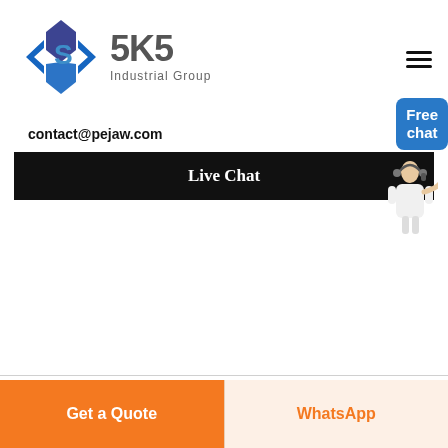[Figure (logo): SKS Industrial Group logo with blue angular diamond shape and gray SKS text with 'Industrial Group' subtitle]
contact@pejaw.com
Live Chat
Free chat
[Figure (photo): Customer service agent figure in white outfit with headset]
Get a Quote
WhatsApp